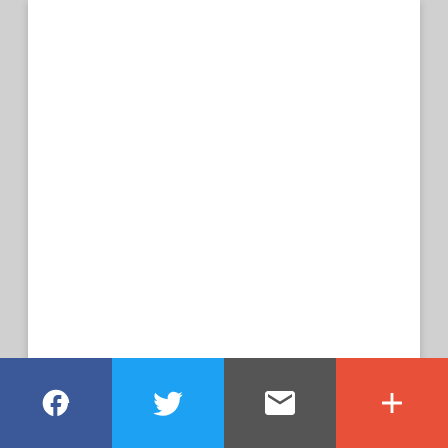[Figure (illustration): White card area representing an image placeholder for Funny Santa Claus Pixel Art]
Funny Santa Claus Pixel Art
[Figure (illustration): Second white card area below the main image card]
[Figure (infographic): Social sharing bar with four buttons: Facebook (blue), Twitter (light blue), Email (dark gray), More (red-orange)]